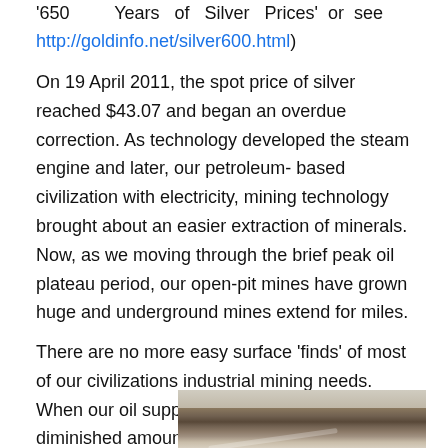'650 Years of Silver Prices' or see http://goldinfo.net/silver600.html)
On 19 April 2011, the spot price of silver reached $43.07 and began an overdue correction. As technology developed the steam engine and later, our petroleum-based civilization with electricity, mining technology brought about an easier extraction of minerals. Now, as we moving through the brief peak oil plateau period, our open-pit mines have grown huge and underground mines extend for miles.
There are no more easy surface ‘finds’ of most of our civilizations industrial mining needs. When our oil supply declines there will be a diminished amount of mine
[Figure (photo): Aerial or elevated view of a large open-pit mine showing terraced walls and a winding road]